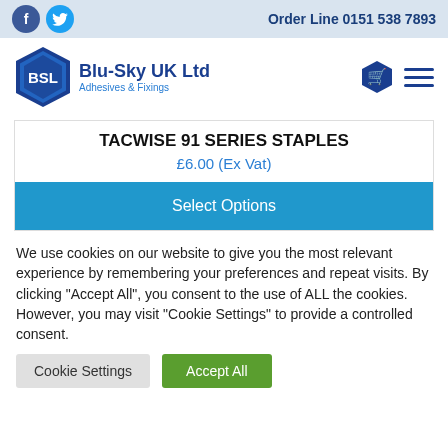Order Line 0151 538 7893
[Figure (logo): BSL Blu-Sky UK Ltd Adhesives & Fixings hexagonal logo with shopping basket icon and hamburger menu]
TACWISE 91 SERIES STAPLES
£6.00 (Ex Vat)
Select Options
We use cookies on our website to give you the most relevant experience by remembering your preferences and repeat visits. By clicking "Accept All", you consent to the use of ALL the cookies. However, you may visit "Cookie Settings" to provide a controlled consent.
Cookie Settings | Accept All